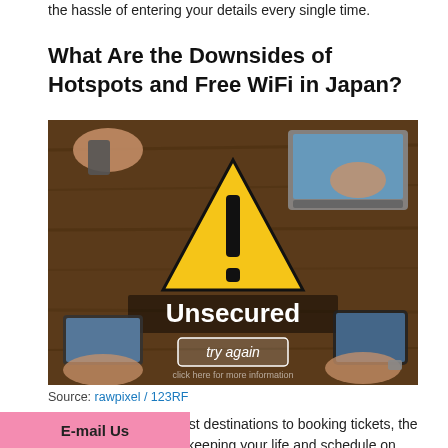the hassle of entering your details every single time.
What Are the Downsides of Hotspots and Free WiFi in Japan?
[Figure (photo): Photo of people using devices on a wooden table with a warning triangle overlay reading 'Unsecured' and a 'try again' button. Text at bottom: 'click here for more information'.]
Source: rawpixel / 123RF
From researching tourist destinations to booking tickets, the internet is essential to keeping your life and schedule on track.
E-mail Us